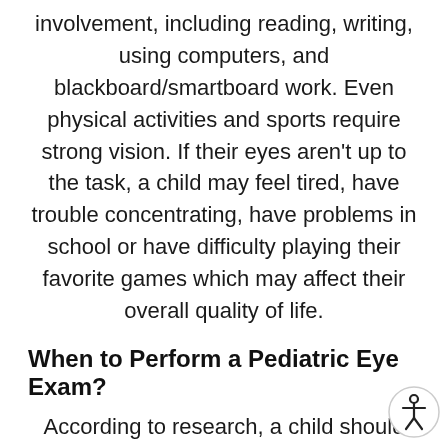involvement, including reading, writing, using computers, and blackboard/smartboard work. Even physical activities and sports require strong vision. If their eyes aren't up to the task, a child may feel tired, have trouble concentrating, have problems in school or have difficulty playing their favorite games which may affect their overall quality of life.
When to Perform a Pediatric Eye Exam?
According to research, a child should have an initial screening between 6 and 12 months of age. After that, routine eye health and vision screenings throughout childhood should be